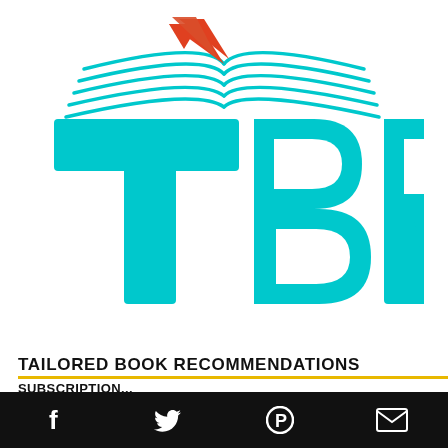[Figure (logo): TBR Tailored Book Recommendations logo — large cyan letters T, B, R with horizontal curved lines suggesting book pages along the top, and a red/orange bookmark triangle above the T.]
TAILORED BOOK RECOMMENDATIONS
SUBSCRIPTION-...
[Figure (infographic): Black footer bar with white social media icons: Facebook (f), Twitter (bird), Pinterest (P), Email (envelope)]